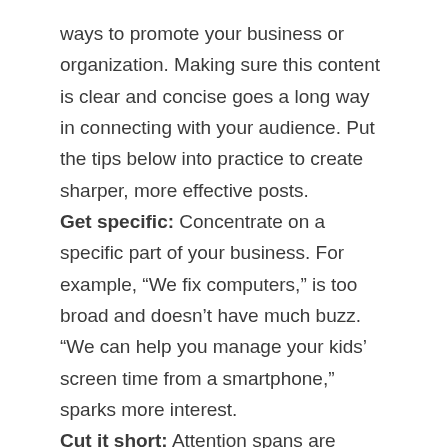ways to promote your business or organization. Making sure this content is clear and concise goes a long way in connecting with your audience. Put the tips below into practice to create sharper, more effective posts.
Get specific: Concentrate on a specific part of your business. For example, “We fix computers,” is too broad and doesn’t have much buzz. “We can help you manage your kids’ screen time from a smartphone,” sparks more interest.
Cut it short: Attention spans are shorter than ever so keeping content focused works best. Write and then rewrite until the copy is concise. Use links to relevant information instead of providing every detail.
Be conversational: Read your post out loud to “hear” the tone. Make it sound like a conversation you want to have